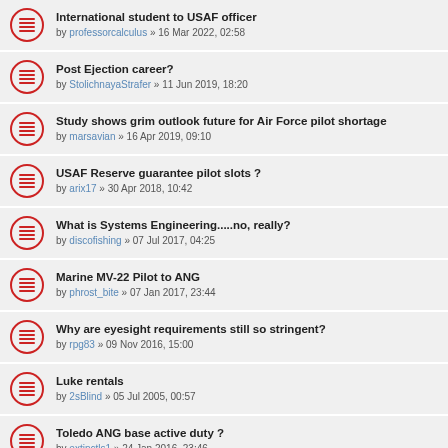International student to USAF officer
by professorcalculus » 16 Mar 2022, 02:58
Post Ejection career?
by StolichnayaStrafer » 11 Jun 2019, 18:20
Study shows grim outlook future for Air Force pilot shortage
by marsavian » 16 Apr 2019, 09:10
USAF Reserve guarantee pilot slots ?
by arix17 » 30 Apr 2018, 10:42
What is Systems Engineering.....no, really?
by discofishing » 07 Jul 2017, 04:25
Marine MV-22 Pilot to ANG
by phrost_bite » 07 Jan 2017, 23:44
Why are eyesight requirements still so stringent?
by rpg83 » 09 Nov 2016, 15:00
Luke rentals
by 2sBlind » 05 Jul 2005, 00:57
Toledo ANG base active duty ?
by extinctls1 » 24 Jan 2016, 23:46